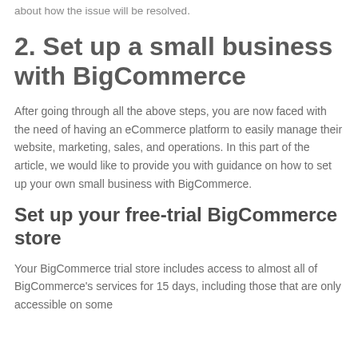about how the issue will be resolved.
2. Set up a small business with BigCommerce
After going through all the above steps, you are now faced with the need of having an eCommerce platform to easily manage their website, marketing, sales, and operations. In this part of the article, we would like to provide you with guidance on how to set up your own small business with BigCommerce.
Set up your free-trial BigCommerce store
Your BigCommerce trial store includes access to almost all of BigCommerce's services for 15 days, including those that are only accessible on some